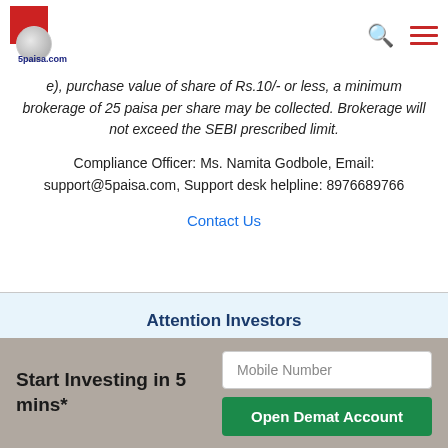[Figure (logo): 5paisa.com logo with red shape and globe icon]
purchase value of share of Rs.10/- or less, a minimum brokerage of 25 paisa per share may be collected. Brokerage will not exceed the SEBI prescribed limit.
Compliance Officer: Ms. Namita Godbole, Email: support@5paisa.com, Support desk helpline: 8976689766
Contact Us
Attention Investors
1. No need to issue chequ
©2022, 5Paisa Capital Ltd. All Rights Reserved.
We are ISO 27001:2013 Certified.
Start Investing in 5 mins*
Mobile Number
Open Demat Account